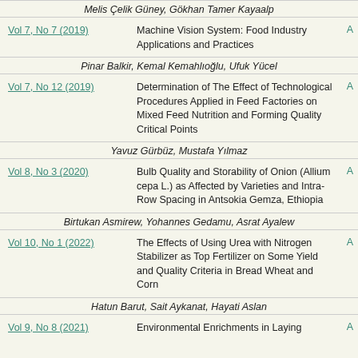Melis Çelik Güney, Gökhan Tamer Kayaalp
Vol 7, No 7 (2019) | Machine Vision System: Food Industry Applications and Practices
Pinar Balkir, Kemal Kemahlıoğlu, Ufuk Yücel
Vol 7, No 12 (2019) | Determination of The Effect of Technological Procedures Applied in Feed Factories on Mixed Feed Nutrition and Forming Quality Critical Points
Yavuz Gürbüz, Mustafa Yılmaz
Vol 8, No 3 (2020) | Bulb Quality and Storability of Onion (Allium cepa L.) as Affected by Varieties and Intra-Row Spacing in Antsokia Gemza, Ethiopia
Birtukan Asmirew, Yohannes Gedamu, Asrat Ayalew
Vol 10, No 1 (2022) | The Effects of Using Urea with Nitrogen Stabilizer as Top Fertilizer on Some Yield and Quality Criteria in Bread Wheat and Corn
Hatun Barut, Sait Aykanat, Hayati Aslan
Vol 9, No 8 (2021) | Environmental Enrichments in Laying